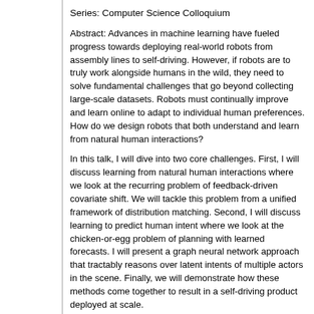Series: Computer Science Colloquium
Abstract: Advances in machine learning have fueled progress towards deploying real-world robots from assembly lines to self-driving. However, if robots are to truly work alongside humans in the wild, they need to solve fundamental challenges that go beyond collecting large-scale datasets. Robots must continually improve and learn online to adapt to individual human preferences. How do we design robots that both understand and learn from natural human interactions?
In this talk, I will dive into two core challenges. First, I will discuss learning from natural human interactions where we look at the recurring problem of feedback-driven covariate shift. We will tackle this problem from a unified framework of distribution matching. Second, I will discuss learning to predict human intent where we look at the chicken-or-egg problem of planning with learned forecasts. I will present a graph neural network approach that tractably reasons over latent intents of multiple actors in the scene. Finally, we will demonstrate how these methods come together to result in a self-driving product deployed at scale.
Register in advance for this webinar at:
https://usc.zoom.us/webinar/register/WN_R-AvYtliSlG4acgixUOK9w